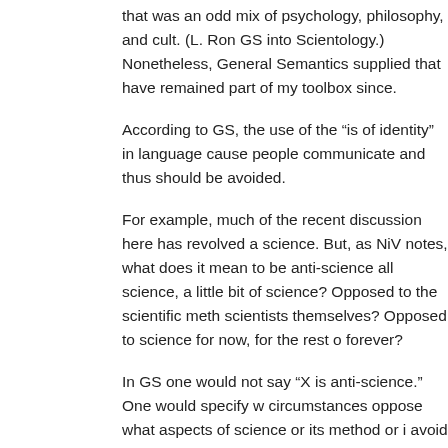that was an odd mix of psychology, philosophy, and cult. (L. Ron GS into Scientology.) Nonetheless, General Semantics supplied that have remained part of my toolbox since.
According to GS, the use of the “is of identity” in language cause people communicate and thus should be avoided.
For example, much of the recent discussion here has revolved a science. But, as NiV notes, what does it mean to be anti-science all science, a little bit of science? Opposed to the scientific meth scientists themselves? Opposed to science for now, for the rest o forever?
In GS one would not say “X is anti-science.” One would specify w circumstances oppose what aspects of science or its method or i avoid these problems.
GS recommends this approach for accuracy and also for mental associate emotions with language, saying “X is Y” packs much m saying “X does Y under circumstances A, B, or C.”